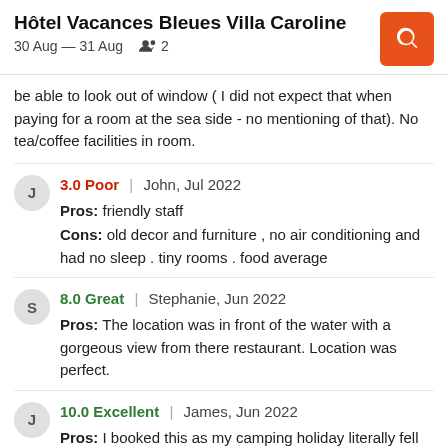Hôtel Vacances Bleues Villa Caroline
30 Aug — 31 Aug  2
be able to look out of window ( I did not expect that when paying for a room at the sea side - no mentioning of that). No tea/coffee facilities in room.
3.0 Poor | John, Jul 2022
Pros: friendly staff
Cons: old decor and furniture , no air conditioning and had no sleep . tiny rooms . food average
8.0 Great | Stephanie, Jun 2022
Pros: The location was in front of the water with a gorgeous view from there restaurant. Location was perfect.
10.0 Excellent | James, Jun 2022
Pros: I booked this as my camping holiday literally fell apart. From the pictures to arrival it was amazing. Beautiful building and very well appointed rooms. Lovely shower and amazing sea view.
Cons: Only missed out on a kettle in the room to make your own coffee/tea but I realise this is a British thing and nothing